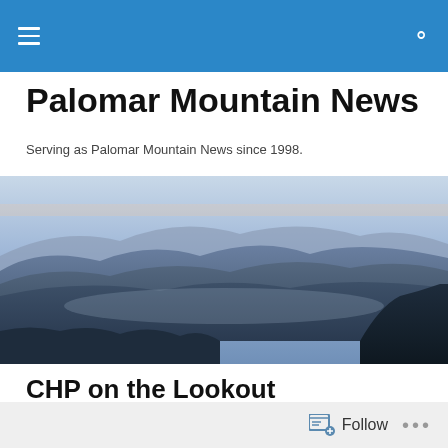Palomar Mountain News – navigation bar
Palomar Mountain News
Serving as Palomar Mountain News since 1998.
[Figure (photo): Panoramic mountain landscape photo showing blue-hued layered mountain ridges at dusk with trees silhouetted in the foreground]
CHP on the Lookout
Follow